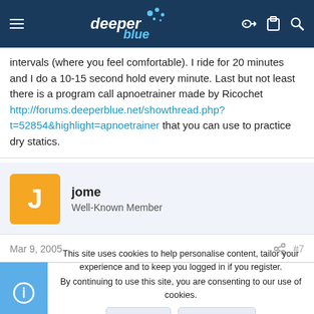deeper blue
intervals (where you feel comfortable). I ride for 20 minutes and I do a 10-15 second hold every minute. Last but not least there is a program call apnoetrainer made by Ricochet http://forums.deeperblue.net/showthread.php?t=52854&highlight=apnoetrainer that you can use to practice dry statics.
jome
Well-Known Member
Mar 9, 2005
#7
This site uses cookies to help personalise content, tailor your experience and to keep you logged in if you register.
By continuing to use this site, you are consenting to our use of cookies.
Accept  Learn more...